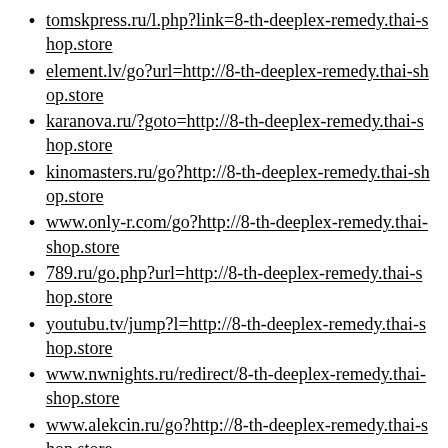tomskpress.ru/l.php?link=8-th-deeplex-remedy.thai-shop.store
element.lv/go?url=http://8-th-deeplex-remedy.thai-shop.store
karanova.ru/?goto=http://8-th-deeplex-remedy.thai-shop.store
kinomasters.ru/go?http://8-th-deeplex-remedy.thai-shop.store
www.only-r.com/go?http://8-th-deeplex-remedy.thai-shop.store
789.ru/go.php?url=http://8-th-deeplex-remedy.thai-shop.store
youtubu.tv/jump?l=http://8-th-deeplex-remedy.thai-shop.store
www.nwnights.ru/redirect/8-th-deeplex-remedy.thai-shop.store
www.alekcin.ru/go?http://8-th-deeplex-remedy.thai-shop.store
krasnoeselo.su/go?http://8-th-deeplex-